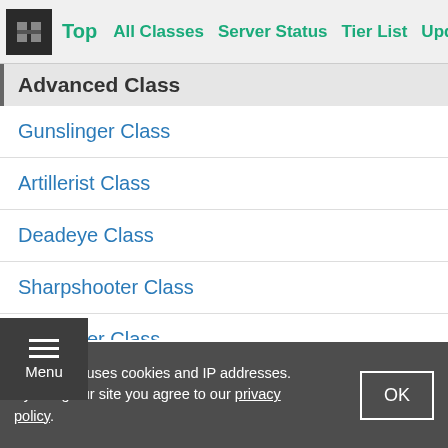Top | All Classes | Server Status | Tier List | Update
Advanced Class
Gunslinger Class
Artillerist Class
Deadeye Class
Sharpshooter Class
Berserker Class
Paladin Class
Gunlancer Class
Striker Class
GameWith uses cookies and IP addresses. By using our site you agree to our privacy policy.